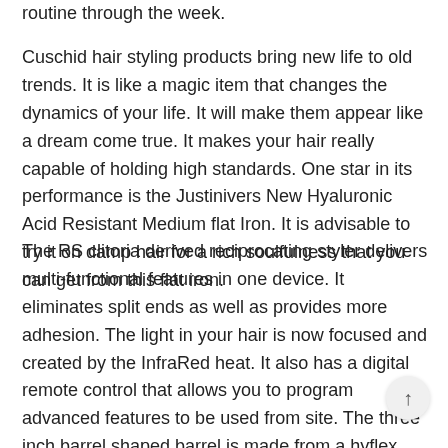routine through the week.
Cuschid hair styling products bring new life to old trends. It is like a magic item that changes the dynamics of your life. It will make them appear like a dream come true. It makes your hair really capable of holding high standards. One star in its performance is the Justinivers New Hyaluronic Acid Resistant Medium flat Iron. It is advisable to try it on damp hair for a rich soulfulness that you can get from this flat iron.
The RS clitoria derived reciprocating styler delivers multi-functional features in one device. It eliminates split ends as well as provides more adhesion. The light in your hair is now focused and created by the InfraRed heat. It also has a digital remote control that allows you to program advanced features to be used from site. The three inch barrel shaped barrel is made from a hyflex material which inhibits direct temperature change and loss.